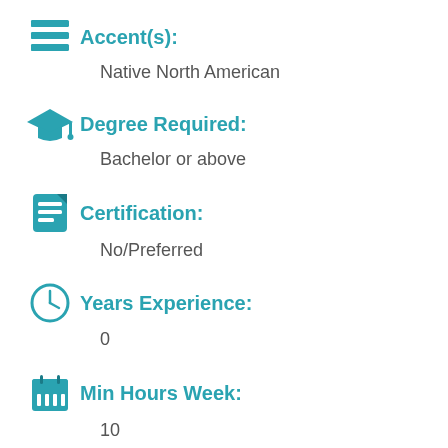Accent(s):
Native North American
Degree Required:
Bachelor or above
Certification:
No/Preferred
Years Experience:
0
Min Hours Week:
10
Internet Speed (Mbps):